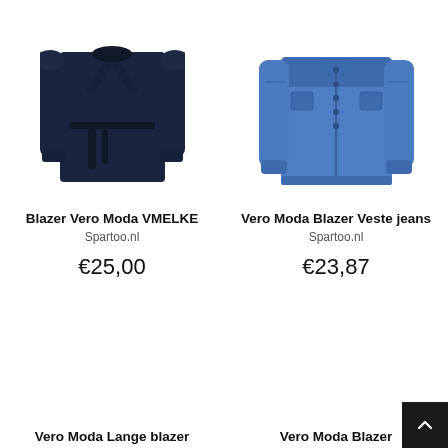[Figure (photo): Navy long-sleeve belted blazer/coat, dark navy color, folded collar, tie belt at waist]
Blazer Vero Moda VMELKE
Spartoo.nl
€25,00
[Figure (photo): Blue denim jacket, medium blue wash, button-front, classic denim jacket style]
Vero Moda Blazer Veste jeans
Spartoo.nl
€23,87
[Figure (photo): Bottom portion of second row left product (partially visible)]
Vero Moda Lange blazer
[Figure (photo): Bottom portion of second row right product (partially visible)]
Vero Moda Blazer